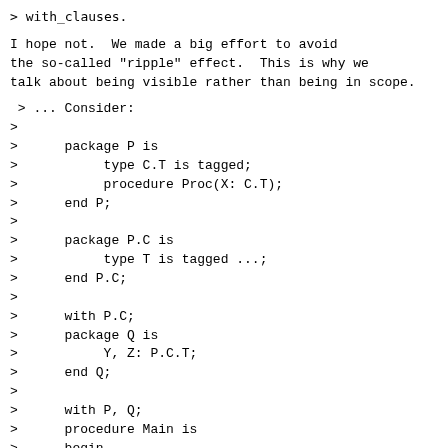> with_clauses.
I hope not.  We made a big effort to avoid the so-called "ripple" effect.  This is why we talk about being visible rather than being in scope.
> ... Consider:
>
>      package P is
>           type C.T is tagged;
>           procedure Proc(X: C.T);
>      end P;
>
>      package P.C is
>           type T is tagged ...;
>      end P.C;
>
>      with P.C;
>      package Q is
>           Y, Z: P.C.T;
>      end Q;
>
>      with P, Q;
>      procedure Main is
>      begin
>           P.Proc(X => Q.Y); -- Legal?
Yes.  This is thanks to the "extra" matching rules.